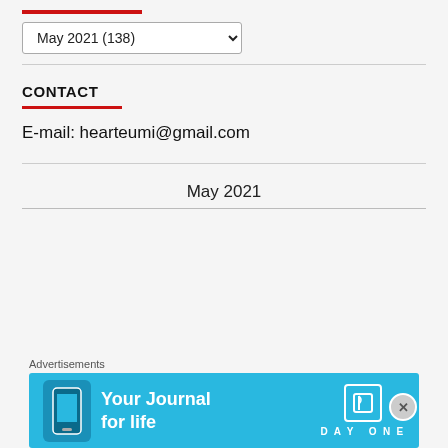[Figure (other): Red horizontal bar decoration at top]
May 2021 (138) — archive dropdown selector
CONTACT
E-mail: hearteumi@gmail.com
May 2021
[Figure (other): Advertisement banner: 'Your Journal for life' DayOne app ad with blue background]